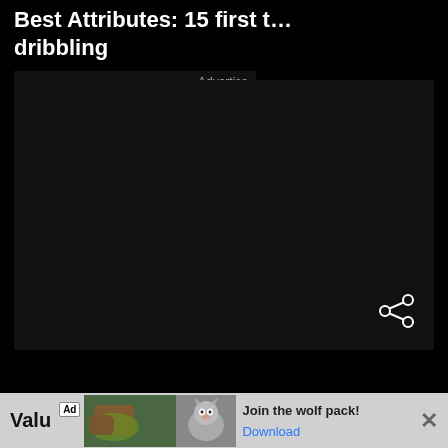Best Attributes: 15 first t… dribbling
[Figure (screenshot): Advertisement overlay on dark background with 'Advertise' text]
[Figure (screenshot): Dark video player with share icon in bottom right corner]
Value
[Figure (screenshot): Ad banner: bear and wolf game ad with text 'Join the wolf pack!' and Download button]